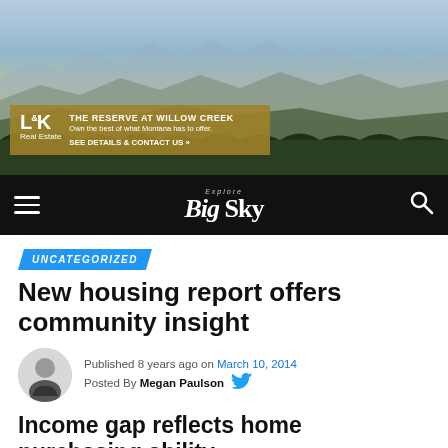[Figure (photo): Aerial landscape photo of Montana mountain valley with grasslands and distant mountains under a blue sky, with an advertisement overlay for 'The Reserve at Willow Creek' by L&K Real Estate]
Explore Big Sky
UNCATEGORIZED
New housing report offers community insight
Published 8 years ago on March 10, 2014
Posted By Megan Paulson
Income gap reflects home purchasing ability